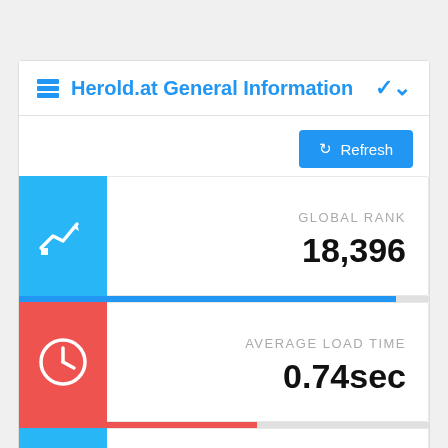Herold.at General Information
Refresh
GLOBAL RANK
18,396
AVERAGE LOAD TIME
0.74sec